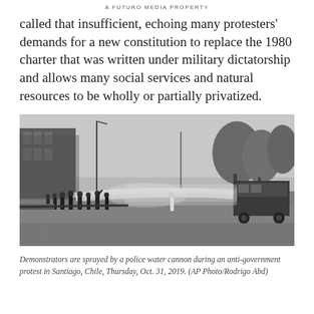A FUTURO MEDIA PROPERTY
called that insufficient, echoing many protesters' demands for a new constitution to replace the 1980 charter that was written under military dictatorship and allows many social services and natural resources to be wholly or partially privatized.
[Figure (photo): Black and white photo of demonstrators being sprayed by a police water cannon on a street in Santiago, Chile. A large truck/vehicle is visible on the right side spraying water across the road. Several protesters are visible on the left side amid the mist. Buildings and trees are visible in the background.]
Demonstrators are sprayed by a police water cannon during an anti-government protest in Santiago, Chile, Thursday, Oct. 31, 2019. (AP Photo/Rodrigo Abd)